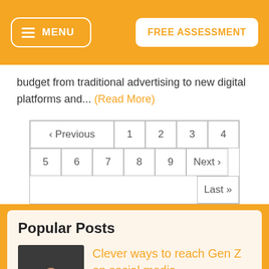MENU | FREE ASSESSMENT
budget from traditional advertising to new digital platforms and... (Read More)
‹ Previous 1 2 3 4 5 6 7 8 9 Next › Last »
Popular Posts
Clever ways to reach Gen Z on social media